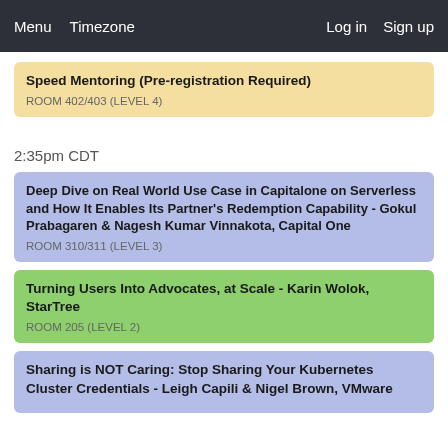Menu  Timezone  Log in  Sign up
Speed Mentoring (Pre-registration Required)
ROOM 402/403 (LEVEL 4)
2:35pm CDT
Deep Dive on Real World Use Case in Capitalone on Serverless and How It Enables Its Partner's Redemption Capability - Gokul Prabagaren & Nagesh Kumar Vinnakota, Capital One
ROOM 310/311 (LEVEL 3)
Turning Users Into Advocates, at Scale - Karin Wolok, StarTree
ROOM 205 (LEVEL 2)
Sharing is NOT Caring: Stop Sharing Your Kubernetes Cluster Credentials - Leigh Capili & Nigel Brown, VMware